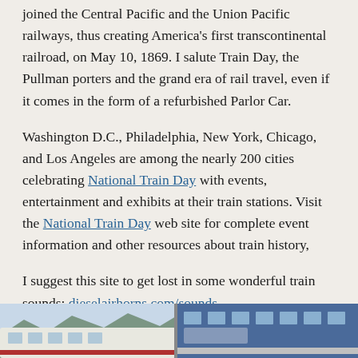joined the Central Pacific and the Union Pacific railways, thus creating America's first transcontinental railroad, on May 10, 1869. I salute Train Day, the Pullman porters and the grand era of rail travel, even if it comes in the form of a refurbished Parlor Car.
Washington D.C., Philadelphia, New York, Chicago, and Los Angeles are among the nearly 200 cities celebrating National Train Day with events, entertainment and exhibits at their train stations. Visit the National Train Day web site for complete event information and other resources about train history,
I suggest this site to get lost in some wonderful train sounds: dieselairhorns.com/sounds.
[Figure (photo): Partial view of a train photo strip at the bottom of the page]